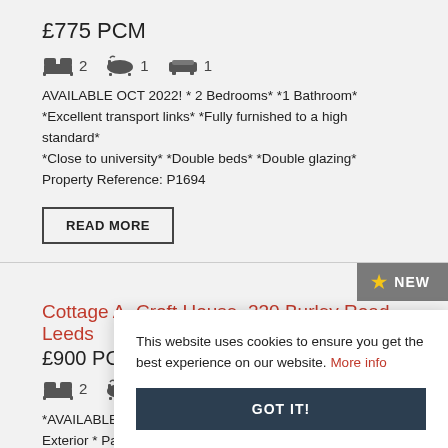£775 PCM
[Figure (illustration): Icons row: bed (2), bath (1), sofa (1)]
AVAILABLE OCT 2022! * 2 Bedrooms* *1 Bathroom* *Excellent transport links* *Fully furnished to a high standard* *Close to university* *Double beds* *Double glazing* Property Reference: P1694
READ MORE
Cottage A, Croft House, 230 Burley Road, Leeds
£900 PCM
[Figure (illustration): Icons row: bed (2), bath (1), sofa (1)]
*AVAILABLE 1ST O... Exterior * Parking... Side Garden * Hig... Conveniently loca...
This website uses cookies to ensure you get the best experience on our website. More info GOT IT!